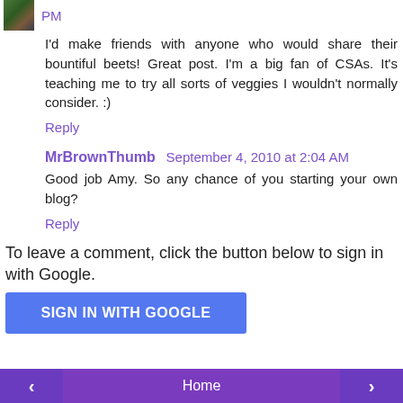PM
I'd make friends with anyone who would share their bountiful beets! Great post. I'm a big fan of CSAs. It's teaching me to try all sorts of veggies I wouldn't normally consider. :)
Reply
MrBrownThumb  September 4, 2010 at 2:04 AM
Good job Amy. So any chance of you starting your own blog?
Reply
To leave a comment, click the button below to sign in with Google.
SIGN IN WITH GOOGLE
< Home >